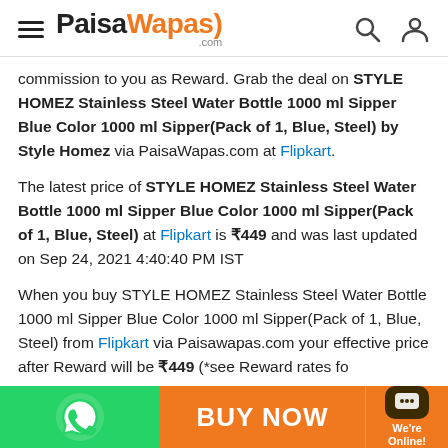PaisaWapas.com
commission to you as Reward. Grab the deal on STYLE HOMEZ Stainless Steel Water Bottle 1000 ml Sipper Blue Color 1000 ml Sipper(Pack of 1, Blue, Steel) by Style Homez via PaisaWapas.com at Flipkart.
The latest price of STYLE HOMEZ Stainless Steel Water Bottle 1000 ml Sipper Blue Color 1000 ml Sipper(Pack of 1, Blue, Steel) at Flipkart is ₹449 and was last updated on Sep 24, 2021 4:40:40 PM IST
When you buy STYLE HOMEZ Stainless Steel Water Bottle 1000 ml Sipper Blue Color 1000 ml Sipper(Pack of 1, Blue, Steel) from Flipkart via Paisawapas.com your effective price after Reward will be ₹449 (*see Reward rates fo